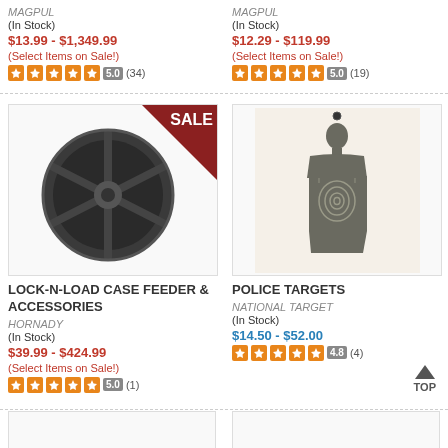MAGPUL
(In Stock)
$13.99 - $1,349.99
(Select Items on Sale!)
5.0 (34)
MAGPUL
(In Stock)
$12.29 - $119.99
(Select Items on Sale!)
5.0 (19)
[Figure (photo): Lock-N-Load Case Feeder product image with SALE banner]
[Figure (photo): Police silhouette shooting target]
LOCK-N-LOAD CASE FEEDER & ACCESSORIES
HORNADY
(In Stock)
$39.99 - $424.99
(Select Items on Sale!)
5.0 (1)
POLICE TARGETS
NATIONAL TARGET
(In Stock)
$14.50 - $52.00
4.8 (4)